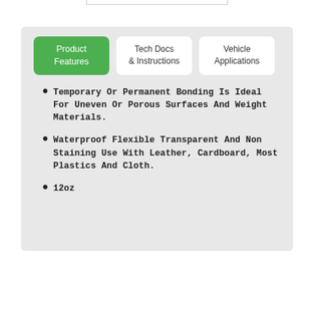Product Features | Tech Docs & Instructions | Vehicle Applications
Temporary Or Permanent Bonding Is Ideal For Uneven Or Porous Surfaces And Weight Materials.
Waterproof Flexible Transparent And Non Staining Use With Leather, Cardboard, Most Plastics And Cloth.
12oz